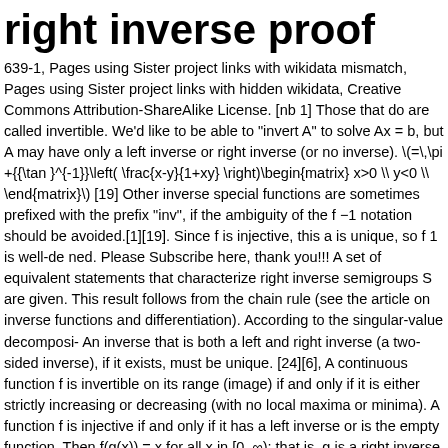right inverse proof
639-1, Pages using Sister project links with wikidata mismatch, Pages using Sister project links with hidden wikidata, Creative Commons Attribution-ShareAlike License. [nb 1] Those that do are called invertible. We'd like to be able to "invert A" to solve Ax = b, but A may have only a left inverse or right inverse (or no inverse). \(=\,\pi +{{\tan}^{-1}}\left( \frac{x-y}{1+xy} \right)\begin{matrix} x>0 \\ y<0 \\ \end{matrix}\) [19] Other inverse special functions are sometimes prefixed with the prefix "inv", if the ambiguity of the f −1 notation should be avoided.[1][19]. Since f is injective, this a is unique, so f 1 is well-defined. Please Subscribe here, thank you!!! A set of equivalent statements that characterize right inverse semigroups S are given. This result follows from the chain rule (see the article on inverse functions and differentiation). According to the singular-value decomposi- An inverse that is both a left and right inverse (a two-sided inverse), if it exists, must be unique. [24][6], A continuous function f is invertible on its range (image) if and only if it is either strictly increasing or decreasing (with no local maxima or minima). A function f is injective if and only if it has a left inverse or is the empty function. Then f(g(x)) = x for all x in [0, ∞); that is, g is a right inverse to f. However, g is not a left inverse to f, since, e.g.,